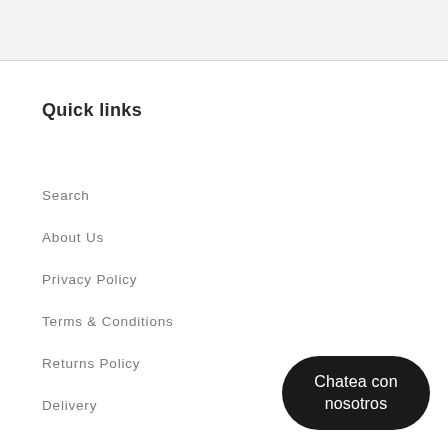Quick links
Search
About Us
Privacy Policy
Terms & Conditions
Returns Policy
Delivery
Chatea con nosotros